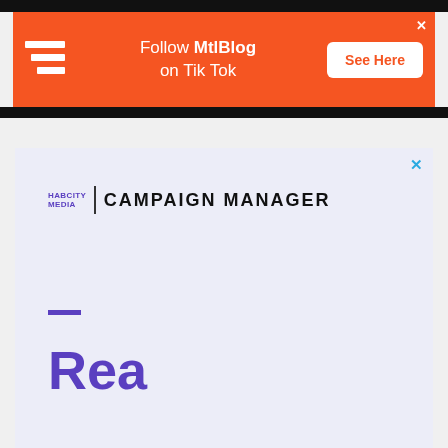[Figure (screenshot): Orange advertisement banner: logo on left, 'Follow MtlBlog on Tik Tok' text in center, 'See Here' white button on right, close X top right]
[Figure (logo): HabCity Media | Campaign Manager brand logo on light purple/lavender background with purple dash and partial large 'Rea' text in purple below]